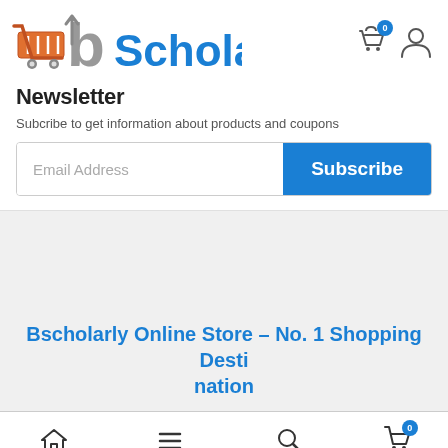bScholarly — site header with logo and cart/user icons
Newsletter
Subcribe to get information about products and coupons
Email Address | Subscribe
Bscholarly Online Store – No. 1 Shopping Destination
Home | Category | Search | Cart